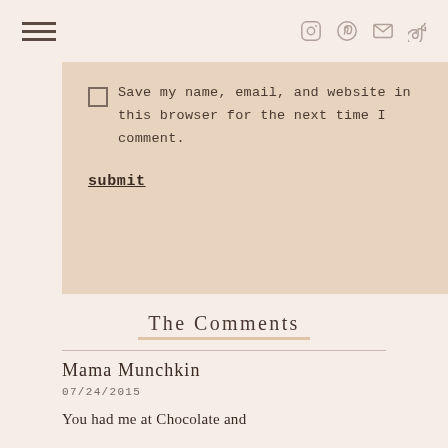[hamburger menu] [instagram] [pinterest] [email] [tiktok]
Save my name, email, and website in this browser for the next time I comment.
submit
The Comments
Mama Munchkin
07/24/2015
You had me at Chocolate and